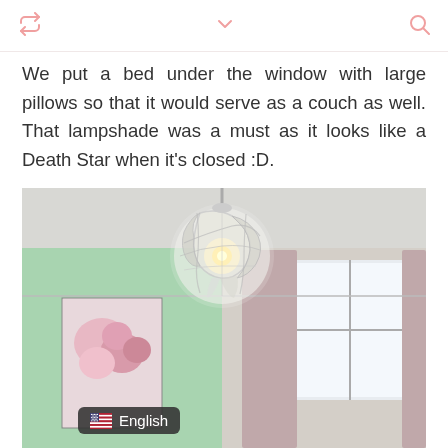retweet icon / chevron down / search icon
We put a bed under the window with large pillows so that it would serve as a couch as well. That lampshade was a must as it looks like a Death Star when it's closed :D.
[Figure (photo): Interior room photo showing a spherical white lattice lampshade hanging from a light gray ceiling, a mint green wall with a pink floral artwork canvas, mauve/pink curtains, and a bright window.]
English